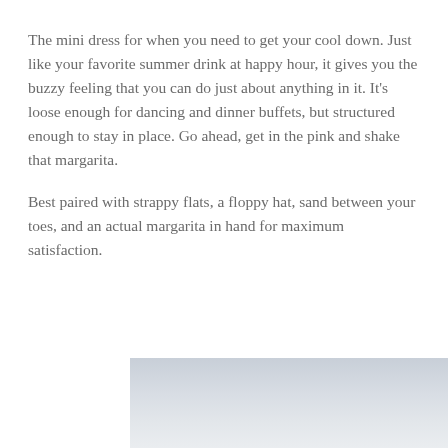The mini dress for when you need to get your cool down. Just like your favorite summer drink at happy hour, it gives you the buzzy feeling that you can do just about anything in it. It's loose enough for dancing and dinner buffets, but structured enough to stay in place. Go ahead, get in the pink and shake that margarita.
Best paired with strappy flats, a floppy hat, sand between your toes, and an actual margarita in hand for maximum satisfaction.
[Figure (photo): Partial photo visible at bottom right of page, showing a pale blue-grey sky or water scene, cropped]